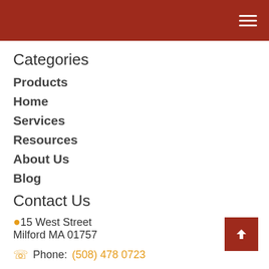Navigation menu header bar
Categories
Products
Home
Services
Resources
About Us
Blog
Contact Us
15 West Street
Milford MA 01757
Phone: (508) 478 0723